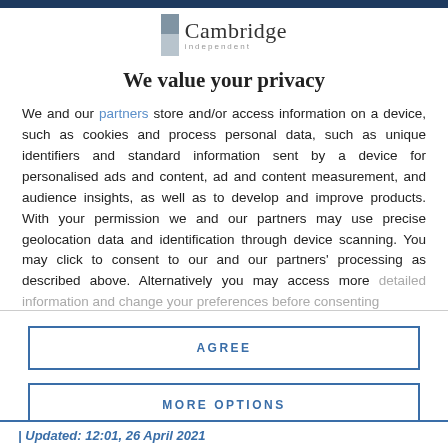[Figure (logo): Cambridge Independent logo with grey rectangular icon and stylized text]
We value your privacy
We and our partners store and/or access information on a device, such as cookies and process personal data, such as unique identifiers and standard information sent by a device for personalised ads and content, ad and content measurement, and audience insights, as well as to develop and improve products. With your permission we and our partners may use precise geolocation data and identification through device scanning. You may click to consent to our and our partners' processing as described above. Alternatively you may access more detailed information and change your preferences before consenting
AGREE
MORE OPTIONS
Updated: 12:01, 26 April 2021